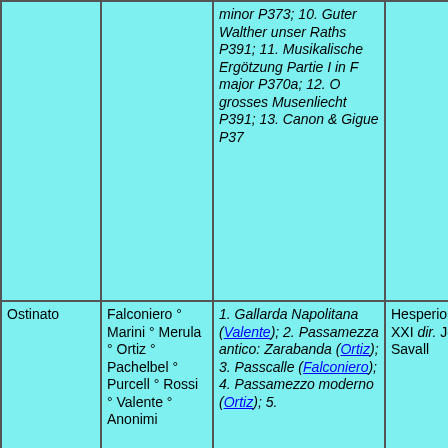|  |  | minor P373; 10. Guter Walther unser Raths P391; 11. Musikalische Ergötzung Partie I in F major P370a; 12. O grosses Musenliecht P391; 13. Canon & Gigue P37 |  |  |
| Ostinato | Falconiero ° Marini ° Merula ° Ortiz ° Pachelbel ° Purcell ° Rossi ° Valente ° Anonimi | 1. Gallarda Napolitana (Valente); 2. Passamezza antico: Zarabanda (Ortiz); 3. Passcalle (Falconiero); 4. Passamezzo moderno (Ortiz); 5. | Hesperion XXI dir. Jordi Savall | Alia Vox |